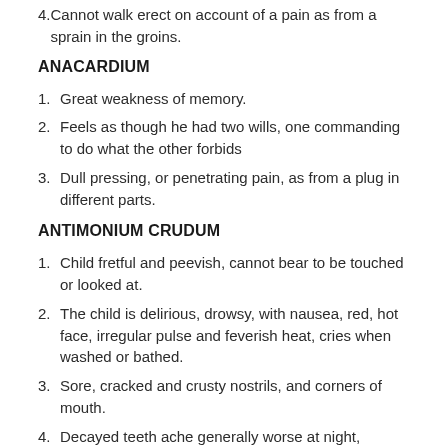4. Cannot walk erect on account of a pain as from a sprain in the groins.
ANACARDIUM
1. Great weakness of memory.
2. Feels as though he had two wills, one commanding to do what the other forbids
3. Dull pressing, or penetrating pain, as from a plug in different parts.
ANTIMONIUM CRUDUM
1. Child fretful and peevish, cannot bear to be touched or looked at.
2. The child is delirious, drowsy, with nausea, red, hot face, irregular pulse and feverish heat, cries when washed or bathed.
3. Sore, cracked and crusty nostrils, and corners of mouth.
4. Decayed teeth ache generally worse at night, touching tooth